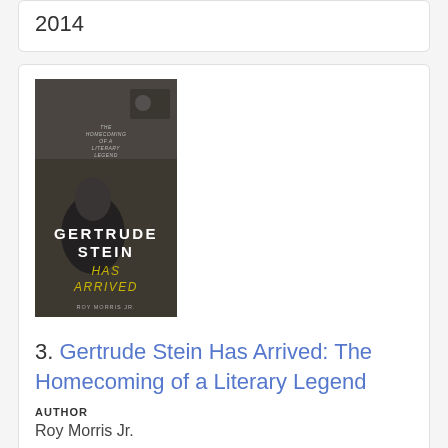2014
[Figure (photo): Book cover of 'Gertrude Stein Has Arrived: The Homecoming of a Literary Legend' showing a black and white photo of Gertrude Stein with text overlaid.]
3. Gertrude Stein Has Arrived: The Homecoming of a Literary Legend
AUTHOR
Roy Morris Jr.